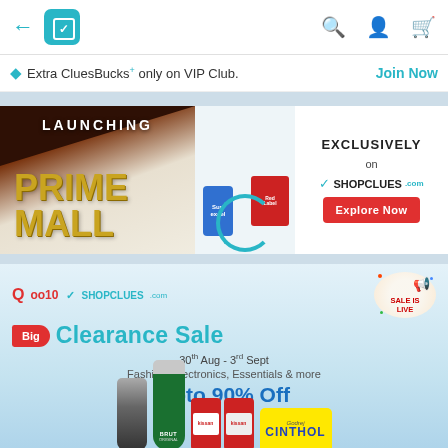← [ShopClues bag icon] [search] [profile] [cart]
◆ Extra CluesBucks+ only on VIP Club.   Join Now
[Figure (screenshot): Prime Mall launching banner with product images (Surf Excel, Red Label tea) and 'EXCLUSIVELY on SHOPCLUES - Explore Now' button]
[Figure (screenshot): Qoo10 x ShopClues Big Clearance Sale banner: 30th Aug - 3rd Sept, Fashion, Electronics, Essentials & more, Upto 90% Off, with products (trimmer, Brut, Kissan, Cinthol)]